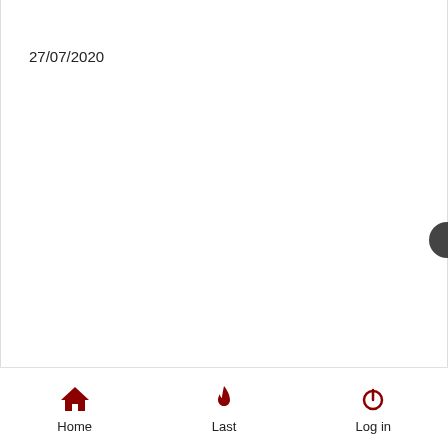27/07/2020
Home   Last   Log in